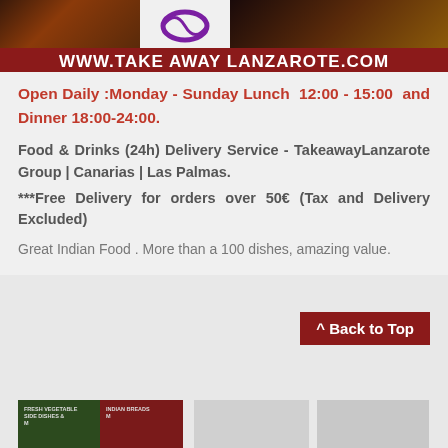[Figure (screenshot): Banner image strip with food photos and logo, with dark red background showing URL www.takeawaylanzarote.com]
Open Daily :Monday - Sunday Lunch 12:00 - 15:00 and Dinner 18:00-24:00.
Food & Drinks (24h) Delivery Service - TakeawayLanzarote Group | Canarias | Las Palmas.
***Free Delivery for orders over 50€ (Tax and Delivery Excluded)
Great Indian Food . More than a 100 dishes, amazing value.
[Figure (screenshot): Back to Top button in dark red, and thumbnail images of food at bottom of page]